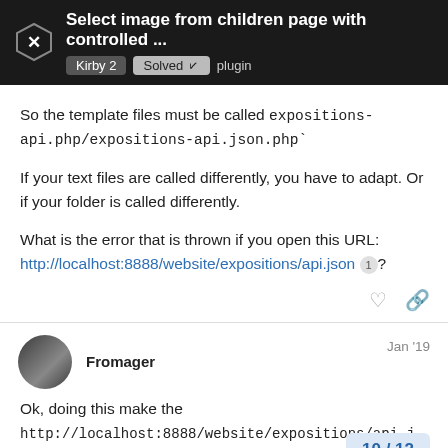Select image from children page with controlled ... | Kirby 2 | Solved | plugin
So the template files must be called expositions-api.php/expositions-api.json.php`
If your text files are called differently, you have to adapt. Or if your folder is called differently.
What is the error that is thrown if you open this URL: http://localhost:8888/website/expositions/api.json ?
Fromager  Jan '19
Ok, doing this make the http://localhost:8888/website/expositions/api.json run, I have this now :
10 / 12